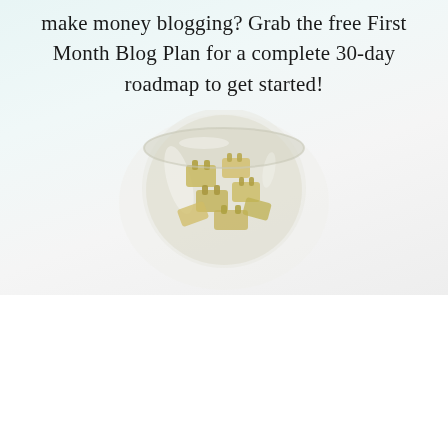make money blogging? Grab the free First Month Blog Plan for a complete 30-day roadmap to get started!
[Figure (photo): Overhead view of a glass jar filled with gold metallic binder clips on a light background]
BLOGGING TIPS
5 TYPES OF BLOG POSTS EVERY NEW BLOGGER NEEDS TO WRITE
BLOGGING TIPS
BY BLOGGING HER WAY